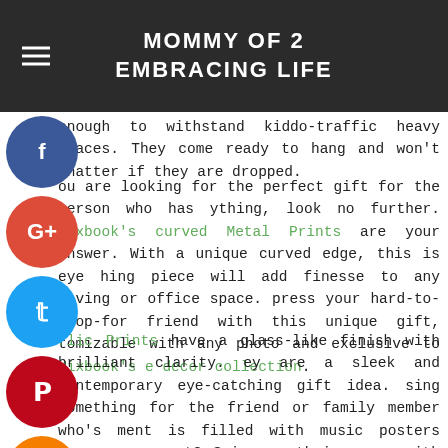MOMMY OF 2 EMBRACING LIFE
enough to withstand kiddo-traffic heavy spaces. They come ready to hang and won't shatter if they are dropped.
If you are looking for the perfect gift for the person who has everything, look no further. Mixbook's curved Metal Prints are your answer. With a unique curved edge, this is eye catching piece will add finesse to any living or office space. Impress your hard-to-shop-for friend with this unique gift, customizable with any photo and exclusive to Mixbook's home decor collection.
Acrylic Prints have a glass-like finish with brilliant clarity. They are a sleek and contemporary eye-catching gift idea. Missing something for the friend or family member who's apartment is filled with music posters from years past? Spice up their space with another customized poster to match their collection. Select your favorite image from an old road trip and you are ready to go!